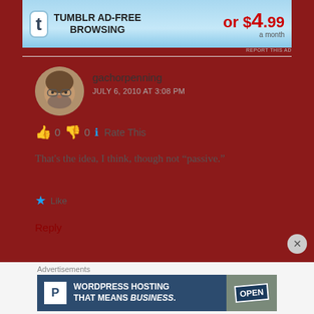[Figure (screenshot): Tumblr AD-FREE BROWSING banner ad with decorative T logo and price or $4.99 a month]
gachorpenning
JULY 6, 2010 AT 3:08 PM
👍 0 👎 0 ℹ Rate This
That's the idea, I think, though not "passive."
Like
Reply
Advertisements
[Figure (screenshot): WordPress Hosting That Means BUSINESS. advertisement with OPEN sign image]